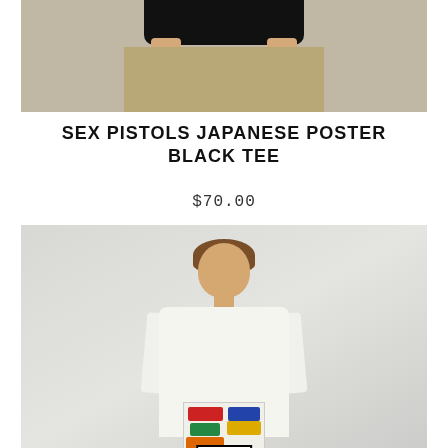[Figure (photo): Top portion of a person wearing a black t-shirt and khaki pants, cropped at torso level showing hands]
SEX PISTOLS JAPANESE POSTER BLACK TEE
$70.00
[Figure (photo): Young male model with brown hair wearing a white Nirvana cassette tape collage graphic t-shirt, standing against a light gray wall]